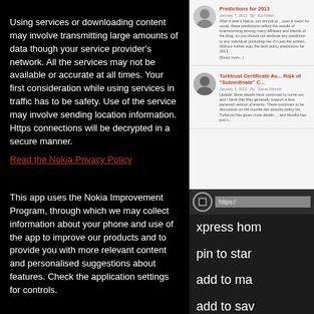Using services or downloading content may involve transmitting large amounts of data though your service provider's network. All the services may not be available or accurate at all times. Your first consideration while using services in traffic has to be safety. Use of the service may involve sending location information. Https connections will be decrypted in a secure manner.
Read the Nokia Privacy Policy
This app uses the Nokia Improvement Program, through which we may collect information about your phone and use of the app to improve our products and to provide you with more relevant content and personalised suggestions about features. Check the application settings for controls.
[Figure (screenshot): Blog entries panel showing two articles: 'Predictions for 2013' by Ed Felten, January 7 2013, and 'Turktrust Certificate Au... Risk of Subordinate C...' by Steve Schultz, January 3 2013]
[Figure (screenshot): Browser context menu showing https:// URL bar and menu options: xpress home, pin to start, add to ma..., add to sav...]